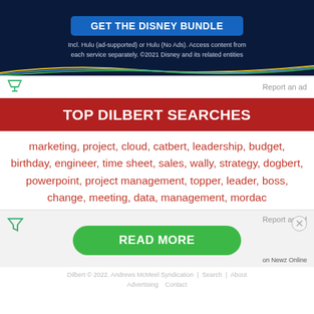[Figure (screenshot): Disney Bundle advertisement banner with dark navy background, blue button reading GET THE DISNEY BUNDLE, tagline text, and decorative colored lines at bottom]
Report an ad
TOP DILBERT SEARCHES
marketing, project, cloud, catbert, leadership, budget, birthday, engineer, time sheet, sales, wally, strategy, dogbert, powerpoint, project management, topper, leader, boss, change, meeting, data, management, mordac
Report an ad
[Figure (screenshot): Green READ MORE button advertisement with Newz Online label]
Dilbert © 2022. Andrews McMeel Syndication | Search | About | Advertising | Contact